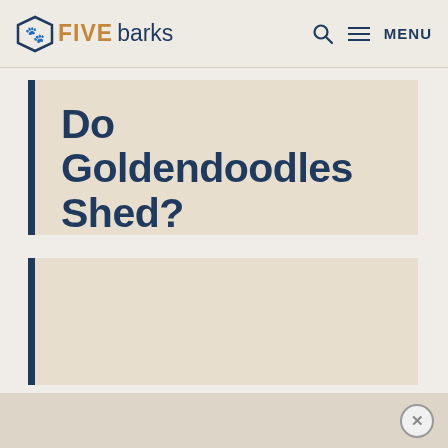FIVE barks — MENU
Do Goldendoodles Shed?
Yes! Goldendoodles do shed. However, Goldendoodles don't shed as much as most other breeds.